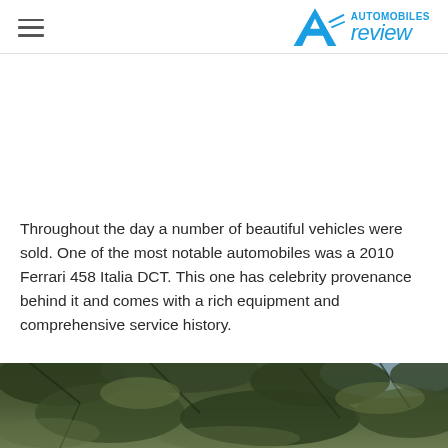Automobiles Review
[Figure (other): Advertisement or blank white space area]
Throughout the day a number of beautiful vehicles were sold. One of the most notable automobiles was a 2010 Ferrari 458 Italia DCT. This one has celebrity provenance behind it and comes with a rich equipment and comprehensive service history.
[Figure (photo): Outdoor photo showing tree foliage/branches against a partly cloudy sky]